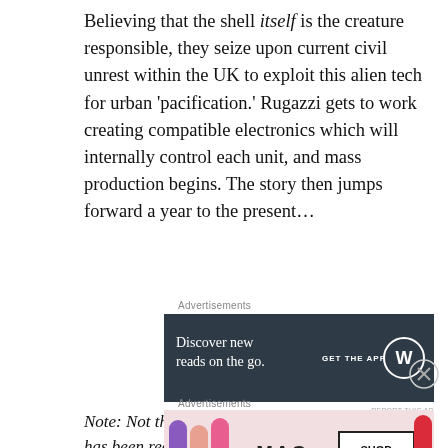Believing that the shell itself is the creature responsible, they seize upon current civil unrest within the UK to exploit this alien tech for urban ‘pacification.’ Rugazzi gets to work creating compatible electronics which will internally control each unit, and mass production begins. The story then jumps forward a year to the present…
Advertisements
[Figure (other): Advertisement banner: dark navy background. Left side text: 'Discover new reads on the go.' Right side: 'GET THE APP' with WordPress logo (circle with W).]
Note: Not the first time that a Doctor enemy has been recreated with Earth-based technology; see 2006’s “Rise of the Cybermen,” which took place in a parallel universe where the
Advertisements
[Figure (other): Advertisement banner: MAC cosmetics lipstick ad. Shows colorful lipsticks on left, MAC logo text in center, 'SHOP NOW' button on right.]